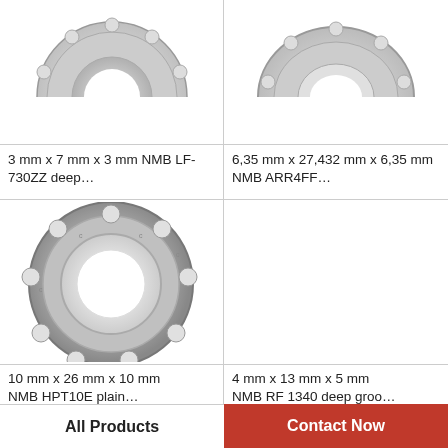[Figure (photo): Close-up top portion of a small metallic deep groove ball bearing, NMB LF-730ZZ]
[Figure (photo): Close-up top portion of a metallic deep groove ball bearing, NMB ARR4FF]
3 mm x 7 mm x 3 mm NMB LF-730ZZ deep…
6,35 mm x 27,432 mm x 6,35 mm NMB ARR4FF…
[Figure (photo): Metallic open deep groove ball bearing, NMB HPT10E, 10mm x 26mm x 10mm]
[Figure (photo): Group of various colorful deep groove ball bearings with WhatsApp Online overlay]
10 mm x 26 mm x 10 mm NMB HPT10E plain…
4 mm x 13 mm x 5 mm NMB RF 1340 deep groo…
All Products
Contact Now